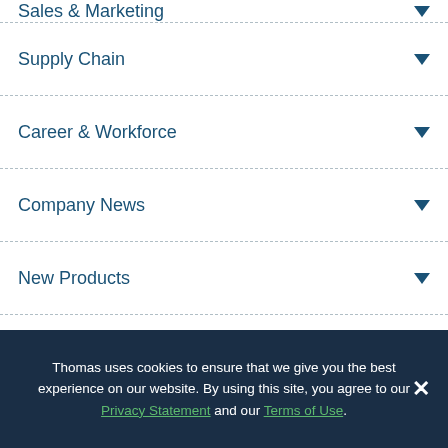Sales & Marketing
Supply Chain
Career & Workforce
Company News
New Products
Thomas Index
Thomas uses cookies to ensure that we give you the best experience on our website. By using this site, you agree to our Privacy Statement and our Terms of Use.